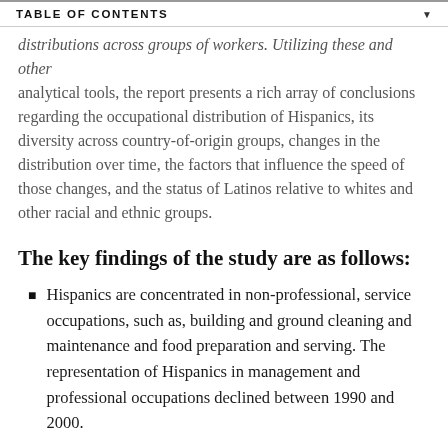TABLE OF CONTENTS
distributions across groups of workers. Utilizing these and other analytical tools, the report presents a rich array of conclusions regarding the occupational distribution of Hispanics, its diversity across country-of-origin groups, changes in the distribution over time, the factors that influence the speed of those changes, and the status of Latinos relative to whites and other racial and ethnic groups.
The key findings of the study are as follows:
Hispanics are concentrated in non-professional, service occupations, such as, building and ground cleaning and maintenance and food preparation and serving. The representation of Hispanics in management and professional occupations declined between 1990 and 2000.